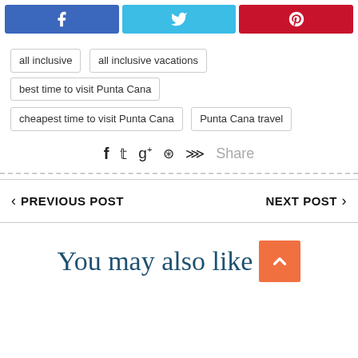[Figure (other): Social share buttons row: Facebook (blue), Twitter (light blue), Pinterest (red)]
all inclusive
all inclusive vacations
best time to visit Punta Cana
cheapest time to visit Punta Cana
Punta Cana travel
f  t  g+  p  Share
‹ PREVIOUS POST    NEXT POST ›
You may also like